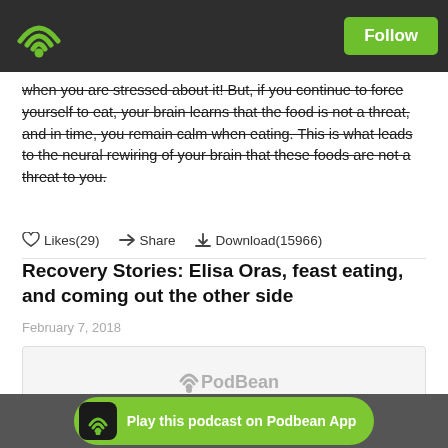PodBean — Follow
when you are stressed about it! But, if you continue to force yourself to eat, your brain learns that the food is not a threat, and in time, you remain calm when eating. This is what leads to the neural rewiring of your brain that these foods are not a threat to you.
Likes(29)  Share  Download(15966)
Recovery Stories: Elisa Oras, feast eating, and coming out the other side
February 7, 2018
[Figure (logo): PodBean audio player placeholder with PodBean logo and dot progress indicators]
In this podcast Tabitha talks to Elisa Oras about recovery.
Topics
Play this podcast on Podbean App